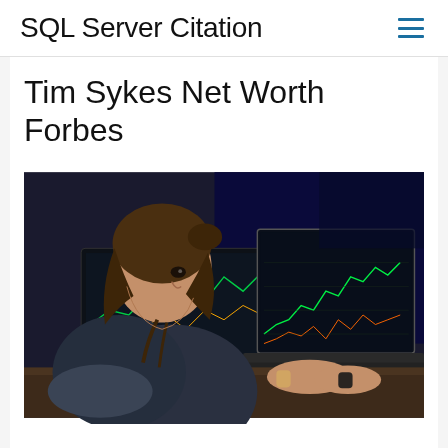SQL Server Citation
Tim Sykes Net Worth Forbes
[Figure (photo): A man with shoulder-length brown hair in a bun, wearing a dark t-shirt, seated at a desk looking intently at two monitors displaying stock trading charts and graphs, with a laptop in the foreground also showing trading charts.]